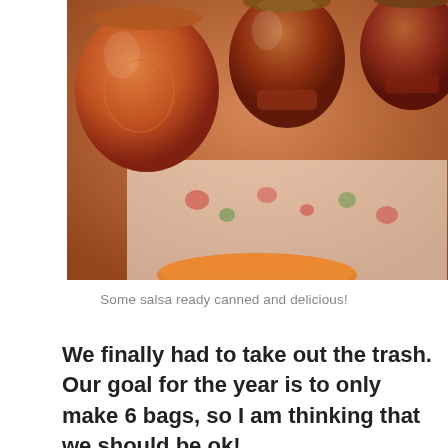[Figure (photo): Photo of canning jars with salsa, orange-brown jars on a floral cloth background with an orange bowl visible at bottom]
Some salsa ready canned and delicious!
We finally had to take out the trash. Our goal for the year is to only make 6 bags, so I am thinking that we should be ok!
Privacy & Cookies: This site uses cookies. By continuing to use this website, you agree to their use.
To find out more, including how to control cookies, see here: Cookie Policy
Close and accept